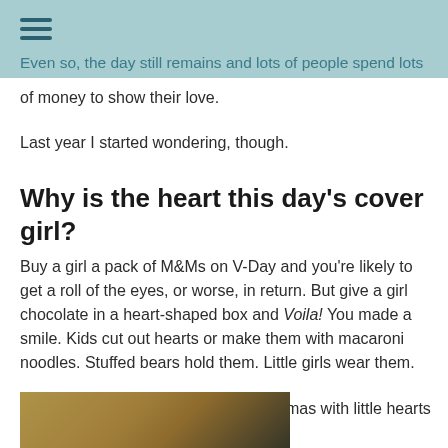Even so, the day still remains and lots of people spend lots of money to show their love.
of money to show their love.
Last year I started wondering, though.
Why is the heart this day's cover girl?
Buy a girl a pack of M&Ms on V-Day and you're likely to get a roll of the eyes, or worse, in return. But give a girl chocolate in a heart-shaped box and Voila! You made a smile. Kids cut out hearts or make them with macaroni noodles. Stuffed bears hold them. Little girls wear them.
Our baby girl, Leah, wears these pajamas with little hearts all about.
[Figure (photo): Partial photo of a baby or young child, warm golden tones, cropped at bottom of page]